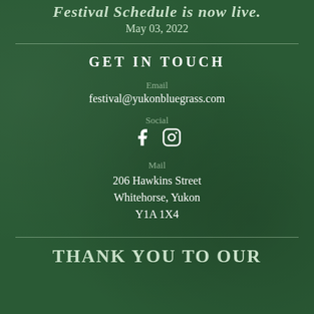Festival Schedule is now live.
May 03, 2022
GET IN TOUCH
Email
festival@yukonbluegrass.com
Social
[Figure (illustration): Facebook and Instagram social media icons]
Mail
206 Hawkins Street
Whitehorse, Yukon
Y1A 1X4
THANK YOU TO OUR